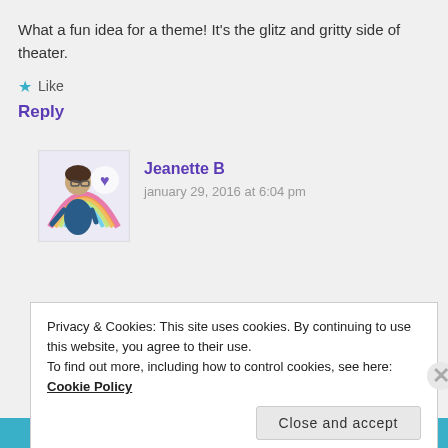What a fun idea for a theme! It's the glitz and gritty side of theater.
★ Like
Reply
[Figure (illustration): Cartoon avatar of a woman with glasses and a rainbow/heart design in background]
Jeanette B
january 29, 2016 at 6:04 pm
Privacy & Cookies: This site uses cookies. By continuing to use this website, you agree to their use.
To find out more, including how to control cookies, see here: Cookie Policy
Close and accept